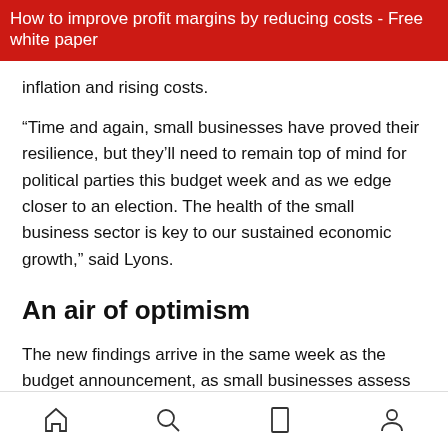How to improve profit margins by reducing costs - Free white paper
inflation and rising costs.
“Time and again, small businesses have proved their resilience, but they’ll need to remain top of mind for political parties this budget week and as we edge closer to an election. The health of the small business sector is key to our sustained economic growth,” said Lyons.
An air of optimism
The new findings arrive in the same week as the budget announcement, as small businesses assess the policies